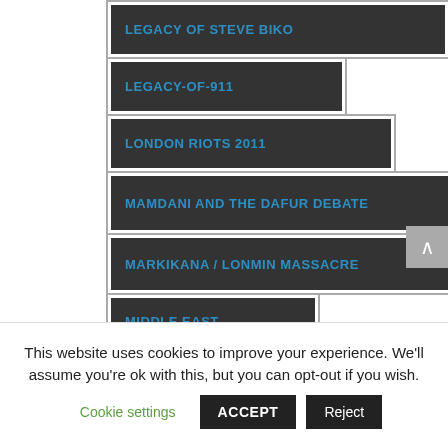LEGACY OF STEVE BIKO
LEGACY-OF-911
LONDON RIOTS 2011
MAMDANI AND THE DAFUR DEBATE
MARKIKANA / LONMIN MASSACRE
MIDDLE EAST
This website uses cookies to improve your experience. We'll assume you're ok with this, but you can opt-out if you wish.
Cookie settings  ACCEPT  Reject